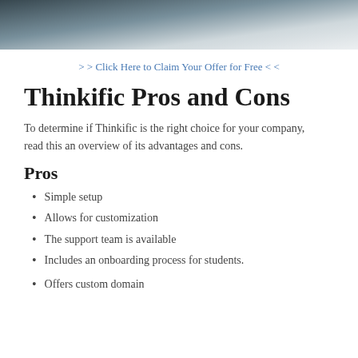[Figure (photo): Top portion of a photo showing a person at a desk with notebooks and a pen, cropped at the bottom]
> > Click Here to Claim Your Offer for Free < <
Thinkific Pros and Cons
To determine if Thinkific is the right choice for your company, read this an overview of its advantages and cons.
Pros
Simple setup
Allows for customization
The support team is available
Includes an onboarding process for students.
Offers custom domain